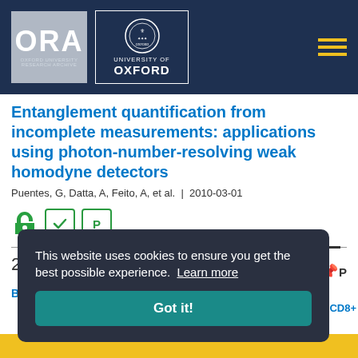[Figure (logo): Oxford University Research Archive (ORA) and University of Oxford logos on dark navy header bar with hamburger menu icon]
Entanglement quantification from incomplete measurements: applications using photon-number-resolving weak homodyne detectors
Puentes, G, Datta, A, Feito, A, et al. | 2010-03-01
[Figure (infographic): Open access icon, checkmark icon, and P icon (green)]
23
TO TOP
This website uses cookies to ensure you get the best possible experience. Learn more
Got it!